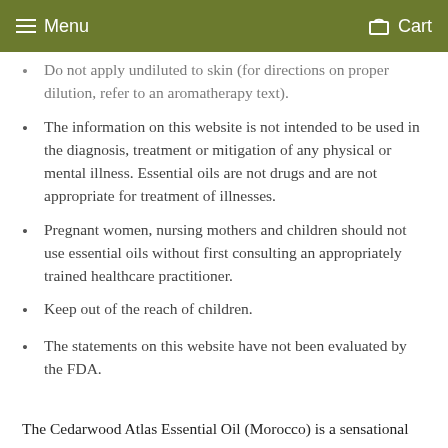Menu   Cart
Do not apply undiluted to skin (for directions on proper dilution, refer to an aromatherapy text).
The information on this website is not intended to be used in the diagnosis, treatment or mitigation of any physical or mental illness. Essential oils are not drugs and are not appropriate for treatment of illnesses.
Pregnant women, nursing mothers and children should not use essential oils without first consulting an appropriately trained healthcare practitioner.
Keep out of the reach of children.
The statements on this website have not been evaluated by the FDA.
The Cedarwood Atlas Essential Oil (Morocco) is a sensational